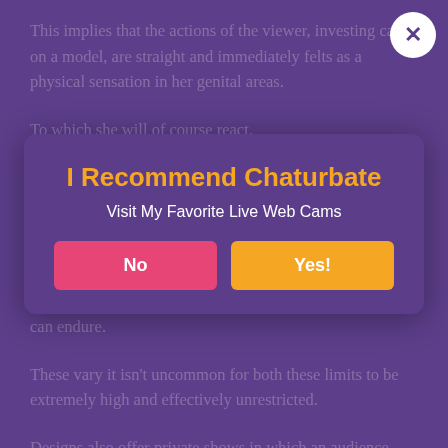This implies that the actions of the viewer, investing cash on a model, are straight and immediately felts as a physical sensation in her genital areas.
To which she will of course react.
This creates a favorable physical, emotional and financial feedback loop in which both parameters are descriptively satisfied.
The limit is just in the amount the audience wants to spend and the quantity of genital stimulation the model can endure.
These vary it isn't uncommon for both these limits to be extremely high and effectively unrestricted.
Designs also offer private shows in which an audience gets exclusive access to her for the duration of the show, and as there is a per-minute charge connected with the personal show it is
[Figure (infographic): Modal popup overlay with title 'I Recommend Chaturbate', subtitle 'Visit My Favorite Live Web Cams', a red 'No' button and an orange 'Yes!' button. A white circular close (X) button appears at top right.]